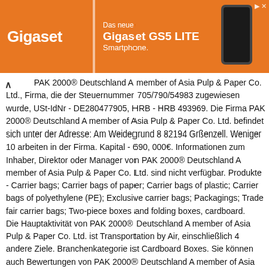[Figure (other): Gigaset GS5 LITE Smartphone advertisement banner with orange background, Gigaset logo on left, product name in white bold text, and smartphone image on right]
PAK 2000® Deutschland A member of Asia Pulp & Paper Co. Ltd., Firma, die der Steuernummer 705/790/54983 zugewiesen wurde, USt-IdNr - DE280477905, HRB - HRB 493969. Die Firma PAK 2000® Deutschland A member of Asia Pulp & Paper Co. Ltd. befindet sich unter der Adresse: Am Weidegrund 8 82194 Grßenzell. Weniger 10 arbeiten in der Firma. Kapital - 690,000€. Informationen zum Inhaber, Direktor oder Manager von PAK 2000® Deutschland A member of Asia Pulp & Paper Co. Ltd. sind nicht verfügbar. Produkte - Carrier bags; Carrier bags of paper; Carrier bags of plastic; Carrier bags of polyethylene (PE); Exclusive carrier bags; Packagings; Trade fair carrier bags; Two-piece boxes and folding boxes, cardboard.
Die Hauptaktivität von PAK 2000® Deutschland A member of Asia Pulp & Paper Co. Ltd. ist Transportation by Air, einschließlich 4 andere Ziele. Branchenkategorie ist Cardboard Boxes. Sie können auch Bewertungen von PAK 2000® Deutschland A member of Asia Pulp & Paper Co. Ltd.